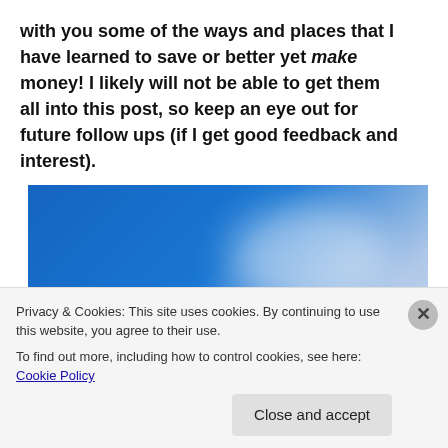with you some of the ways and places that I have learned to save or better yet make money! I likely will not be able to get them all into this post, so keep an eye out for future follow ups (if I get good feedback and interest).
[Figure (photo): A green road sign with white text reading 'SAVE MONEY' against a blue sky background with white clouds.]
Privacy & Cookies: This site uses cookies. By continuing to use this website, you agree to their use. To find out more, including how to control cookies, see here: Cookie Policy